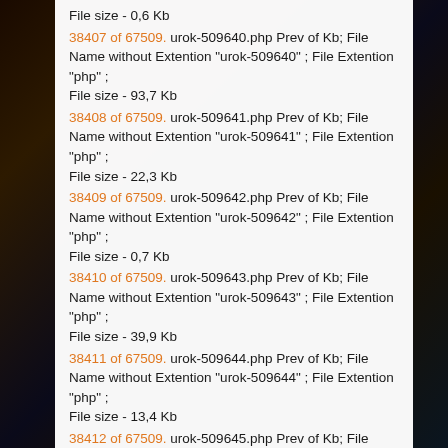File size - 0,6 Kb
38407 of 67509. urok-509640.php Prev of Kb; File Name without Extention "urok-509640" ; File Extention "php" ; File size - 93,7 Kb
38408 of 67509. urok-509641.php Prev of Kb; File Name without Extention "urok-509641" ; File Extention "php" ; File size - 22,3 Kb
38409 of 67509. urok-509642.php Prev of Kb; File Name without Extention "urok-509642" ; File Extention "php" ; File size - 0,7 Kb
38410 of 67509. urok-509643.php Prev of Kb; File Name without Extention "urok-509643" ; File Extention "php" ; File size - 39,9 Kb
38411 of 67509. urok-509644.php Prev of Kb; File Name without Extention "urok-509644" ; File Extention "php" ; File size - 13,4 Kb
38412 of 67509. urok-509645.php Prev of Kb; File Name without Extention "urok-509645" ; File Extention "php" ;